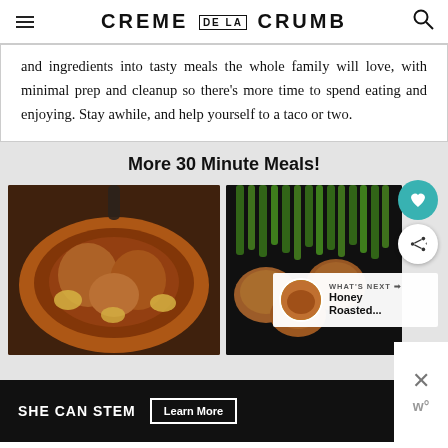CREME DE LA CRUMB
and ingredients into tasty meals the whole family will love, with minimal prep and cleanup so there’s more time to spend eating and enjoying. Stay awhile, and help yourself to a taco or two.
More 30 Minute Meals!
[Figure (photo): Two food photos side by side: left shows a cast iron skillet with roasted chicken and lemon slices; right shows roasted chicken pieces with asparagus on a dark background.]
WHAT'S NEXT → Honey Roasted...
[Figure (infographic): Advertisement bar at bottom: SHE CAN STEM with Learn More button on dark background, and a close button on the right.]